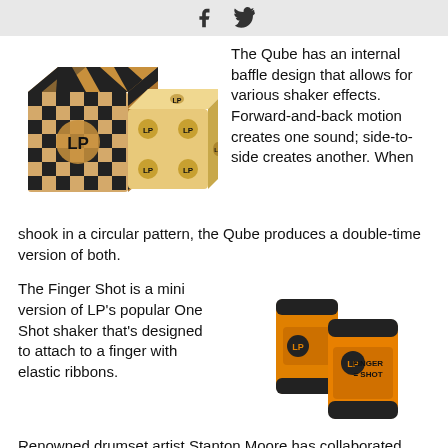[social icons: Facebook, Twitter]
[Figure (photo): Two LP Qube shakers — one with black-and-white checkered pattern, one plain wood dice-style with LP logos on faces]
The Qube has an internal baffle design that allows for various shaker effects. Forward-and-back motion creates one sound; side-to-side creates another. When shook in a circular pattern, the Qube produces a double-time version of both.
The Finger Shot is a mini version of LP's popular One Shot shaker that's designed to attach to a finger with elastic ribbons.
[Figure (photo): Two orange LP Finger Shot mini shakers with black caps and LP logo]
Renowned drumset artist Stanton Moore has collaborated with Latin Percussion